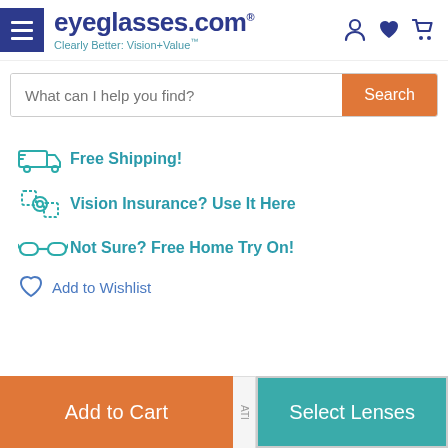eyeglasses.com — Clearly Better: Vision+Value
What can I help you find? [Search]
Free Shipping!
Vision Insurance? Use It Here
Not Sure? Free Home Try On!
Add to Wishlist
Add to Cart | ATI | Select Lenses